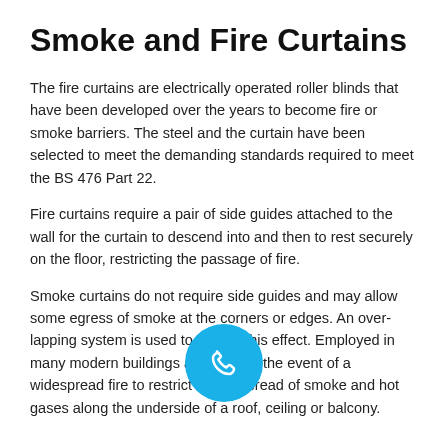Smoke and Fire Curtains
The fire curtains are electrically operated roller blinds that have been developed over the years to become fire or smoke barriers. The steel and the curtain have been selected to meet the demanding standards required to meet the BS 476 Part 22.
Fire curtains require a pair of side guides attached to the wall for the curtain to descend into and then to rest securely on the floor, restricting the passage of fire.
Smoke curtains do not require side guides and may allow some egress of smoke at the corners or edges. An over-lapping system is used to reduce this effect. Employed in many modern buildings and used in the event of a widespread fire to restrict lateral spread of smoke and hot gases along the underside of a roof, ceiling or balcony.
[Figure (illustration): Blue circular phone/call button icon overlaid on text]